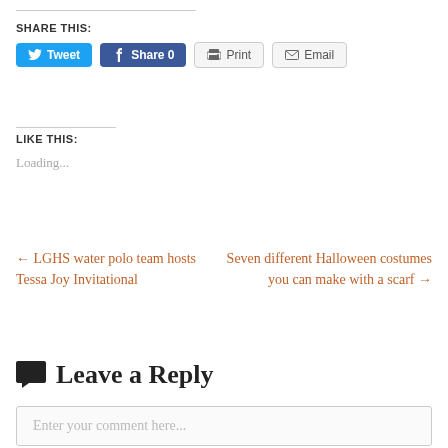SHARE THIS:
Tweet | Share 0 | Print | Email
LIKE THIS:
Loading...
← LGHS water polo team hosts Tessa Joy Invitational
Seven different Halloween costumes you can make with a scarf →
Leave a Reply
Enter your comment here...